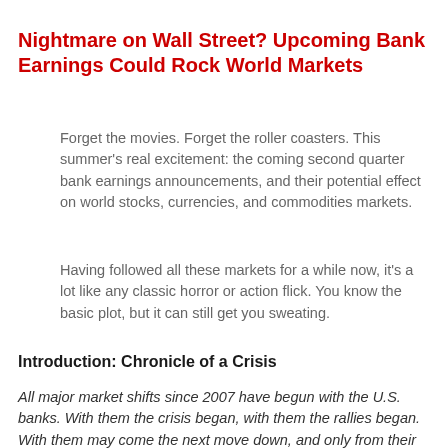Nightmare on Wall Street? Upcoming Bank Earnings Could Rock World Markets
Forget the movies. Forget the roller coasters. This summer's real excitement: the coming second quarter bank earnings announcements, and their potential effect on world stocks, currencies, and commodities markets.
Having followed all these markets for a while now, it's a lot like any classic horror or action flick. You know the basic plot, but it can still get you sweating.
Introduction: Chronicle of a Crisis
All major market shifts since 2007 have begun with the U.S. banks. With them the crisis began, with them the rallies began. With them may come the next move down, and only from their true recovery will there arise a genuine recovery